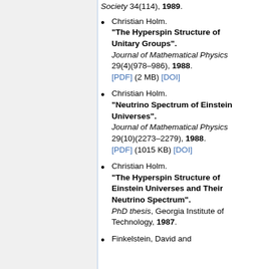Society 34(114), 1989.
Christian Holm. "The Hyperspin Structure of Unitary Groups". Journal of Mathematical Physics 29(4)(978–986), 1988. [PDF] (2 MB) [DOI]
Christian Holm. "Neutrino Spectrum of Einstein Universes". Journal of Mathematical Physics 29(10)(2273–2279), 1988. [PDF] (1015 KB) [DOI]
Christian Holm. "The Hyperspin Structure of Einstein Universes and Their Neutrino Spectrum". PhD thesis, Georgia Institute of Technology, 1987.
Finkelstein, David and